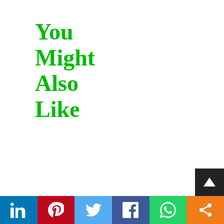You Might Also Like
[Figure (infographic): Social media share bar with six buttons: LinkedIn (blue), Pinterest (red), Twitter (light blue), Facebook (dark blue), WhatsApp (green), Share (orange). A dark scroll-to-top arrow button appears above the bar at the right.]